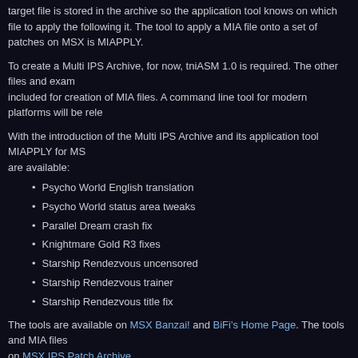target file is stored in the archive so the application tool knows on which file to apply the following it. The tool to apply a MIA file onto a set of patches on MSX is MIAPPLY.
To create a Multi IPS Archive, for now, tniASM 1.0 is required. The other files and examples included for creation of MIA files. A command line tool for modern platforms will be released.
With the introduction of the Multi IPS Archive and its application tool MIAPPLY for MSX, are available:
Psycho World English translation
Psycho World status area tweaks
Parallel Dream crash fix
Knightmare Gold R3 fixes
Starship Rendezvous uncensored
Starship Rendezvous trainer
Starship Rendezvous title fix
The tools are available on MSX Banzai! and BiFi's Home Page. The tools and MIA files on MSX IPS Patch Archive.
add comment (4519 views) | permalink | related link
PSQTOOLS updated
Sunday, April 12, 2015, 12:37
Today I released an update for PSQTOOLS, the toolset for the PlaySoniq module.
Changes: